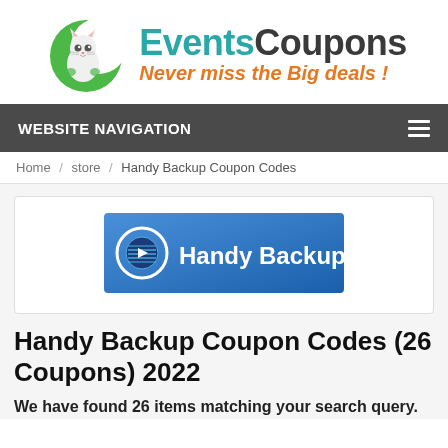[Figure (logo): EventsCoupons website logo with cat mascot inside a green crescent moon shape, with text 'EventsCoupons' and tagline 'Never miss the Big deals!']
WEBSITE NAVIGATION
Home / store / Handy Backup Coupon Codes
[Figure (logo): Handy Backup logo - blue background with circular disc icon and white text 'Handy Backup']
Handy Backup Coupon Codes (26 Coupons) 2022
We have found 26 items matching your search query.